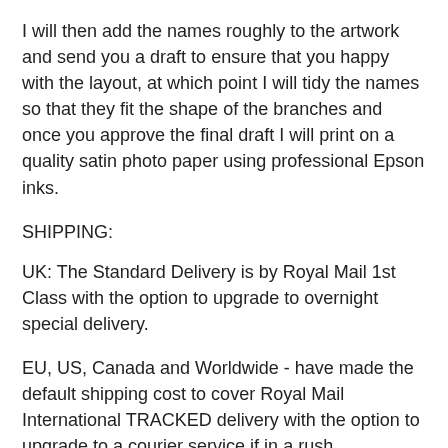I will then add the names roughly to the artwork and send you a draft to ensure that you happy with the layout, at which point I will tidy the names so that they fit the shape of the branches and once you approve the final draft I will print on a quality satin photo paper using professional Epson inks.
SHIPPING:
UK: The Standard Delivery is by Royal Mail 1st Class with the option to upgrade to overnight special delivery.
EU, US, Canada and Worldwide - have made the default shipping cost to cover Royal Mail International TRACKED delivery with the option to upgrade to a courier service if in a rush.